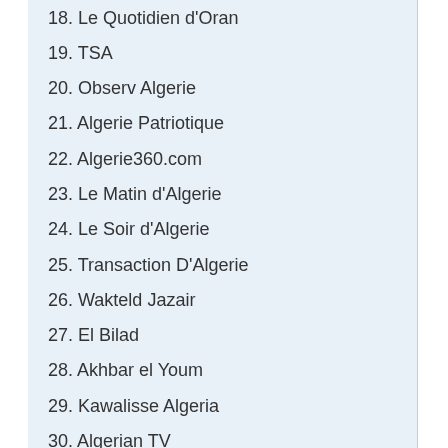18. Le Quotidien d'Oran
19. TSA
20. Observ Algerie
21. Algerie Patriotique
22. Algerie360.com
23. Le Matin d'Algerie
24. Le Soir d'Algerie
25. Transaction D'Algerie
26. Wakteld Jazair
27. El Bilad
28. Akhbar el Youm
29. Kawalisse Algeria
30. Algerian TV
31. Radioalgerie.dz
32. El Watani
33. Algerie-Focus.com
34. Algerie Eco
35. Algerie 1
36. Algerie-dz.com